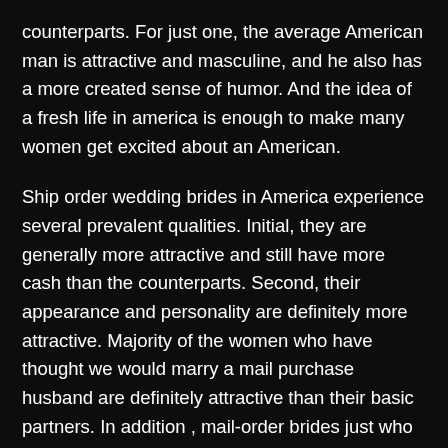counterparts. For just one, the average American man is attractive and masculine, and he also has a more created sense of humor. And the idea of a fresh life in america is enough to make many women get excited about an American.
Ship order wedding brides in America experience several prevalent qualities. Initial, they are generally more attractive and still have more cash than the counterparts. Second, their appearance and personality are definitely more attractive. Majority of the women who have thought we would marry a mail purchase husband are definitely attractive than their basic partners. In addition , mail-order brides just who live in another country will be able to speak with their near